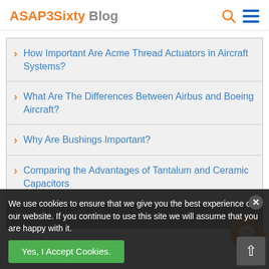ASAP 3Sixty Blog
How Important Are Acme Thread Actuators in Aircraft Systems?
What Are The Differences Between Airbus and Boeing Aircraft?
Why Are Bushings Important?
Comparing the Advantages of Tantalum and Ceramic Capacitors
Recent Twitter Posts
We use cookies to ensure that we give you the best experience on our website. If you continue to use this site we will assume that you are happy with it.
Yes, I Accept Cookies.